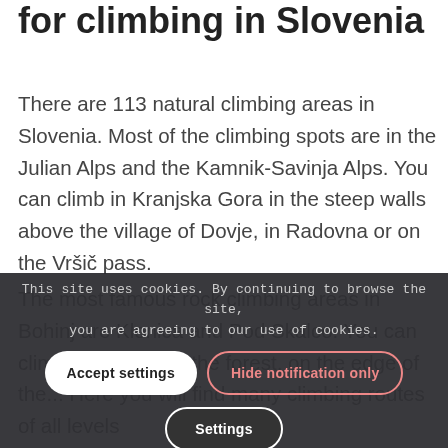for climbing in Slovenia
There are 113 natural climbing areas in Slovenia. Most of the climbing spots are in the Julian Alps and the Kamnik-Savinja Alps. You can climb in Kranjska Gora in the steep walls above the village of Dovje, in Radovna or on the Vršič pass.
The most famous rock climbing areas in Bohinj are Klonica and Pod Skalco. You can climb at the foot of the forest, on the edge of the... Here you will find many climbing routes of all levels
This site uses cookies. By continuing to browse the site, you are agreeing to our use of cookies.
Accept settings | Hide notification only | Settings